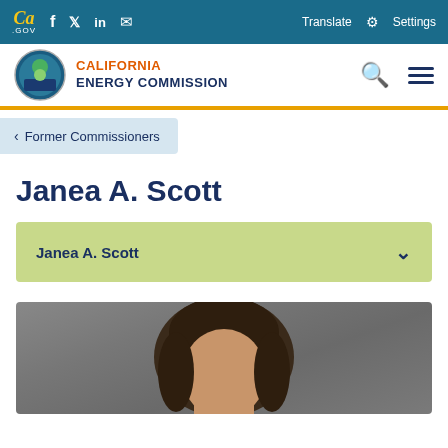CA.GOV | Facebook | Twitter | LinkedIn | Email | Translate | Settings
[Figure (logo): California Energy Commission logo with colorful circular seal and organization name]
< Former Commissioners
Janea A. Scott
Janea A. Scott
[Figure (photo): Portrait photo of Janea A. Scott, partially visible, showing head and upper shoulders against a gray background]